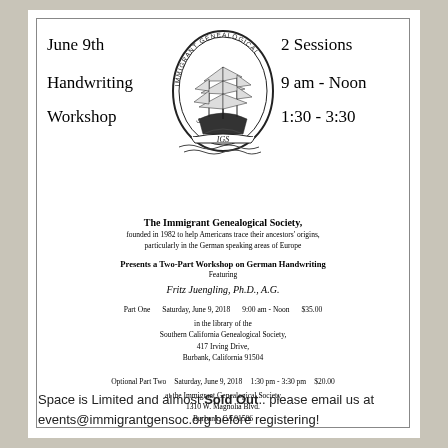June 9th Handwriting Workshop
[Figure (logo): Immigrant Genealogical Society circular logo with sailing ship and IGS banner]
2 Sessions
9 am - Noon
1:30 - 3:30
The Immigrant Genealogical Society,
founded in 1982 to help Americans trace their ancestors' origins, particularly in the German speaking areas of Europe
Presents a Two-Part Workshop on German Handwriting
Featuring
Fritz Juengling, Ph.D., A.G.
Part One   Saturday, June 9, 2018   9:00 am - Noon   $35.00
in the library of the
Southern California Genealogical Society,
417 Irving Drive,
Burbank, California 91504
Optional Part Two   Saturday, June 9, 2018   1:30 pm - 3:30 pm   $20.00
at the Immigrant Genealogical Society
1310 W. Magnolia Blvd.
Burbank, CA 91506
Space is Limited and almost Sold Out.. please email us at events@immigrantgensoc.org before registering!